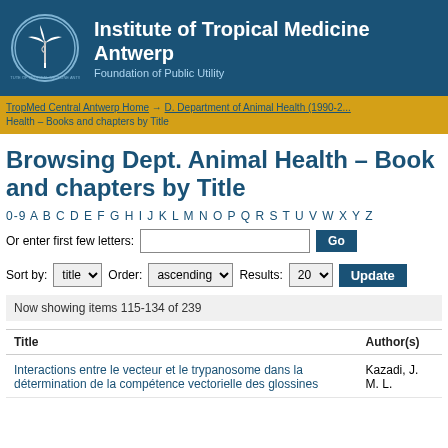Institute of Tropical Medicine Antwerp — Foundation of Public Utility
TropMed Central Antwerp Home → D. Department of Animal Health (1990-2... Health – Books and chapters by Title
Browsing Dept. Animal Health – Books and chapters by Title
0-9 A B C D E F G H I J K L M N O P Q R S T U V W X Y Z
Or enter first few letters: [input] Go
Sort by: title   Order: ascending   Results: 20   Update
Now showing items 115-134 of 239
| Title | Author(s) |
| --- | --- |
| Interactions entre le vecteur et le trypanosome dans la détermination de la compétence vectorielle des glossines | Kazadi, J. M. L. |